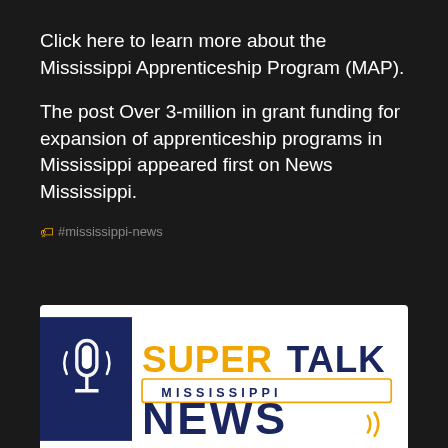Click here to learn more about the Mississippi Apprenticeship Program (MAP).
The post Over 3-million in grant funding for expansion of apprenticeship programs in Mississippi appeared first on News Mississippi.
🏷 #mississippi-news
[Figure (logo): SuperTalk Mississippi News logo with microphone icon on dark navy background, SUPER in orange/yellow, TALK in navy, MISSISSIPPI in navy outlined box, NEWS in large navy bold letters]
SuperTalk Eagle Hour: Jason Munz From The Commercial Appeal, Baseball Coach Chad Chaillet Joins The Show To Talk